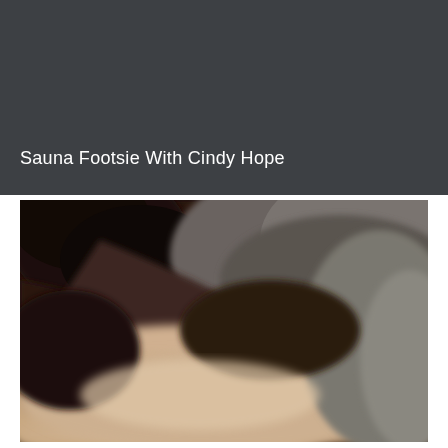Sauna Footsie With Cindy Hope
[Figure (photo): Close-up blurred photo showing dark curly hair and skin tones with warm beige and gray tones, likely a sauna-related scene]